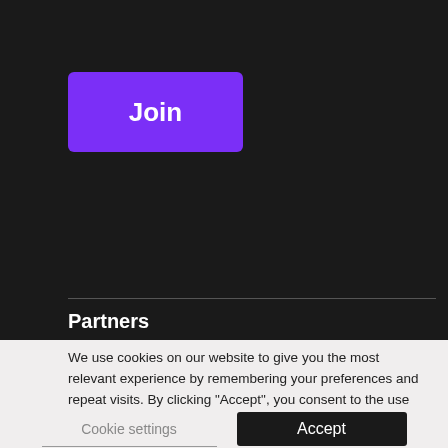[Figure (screenshot): Dark background section of a website with a purple 'Join' button]
Partners
We use cookies on our website to give you the most relevant experience by remembering your preferences and repeat visits. By clicking “Accept”, you consent to the use of ALL the cookies. However you may visit Cookie Settings to provide a controlled consent.
Cookie settings
Accept